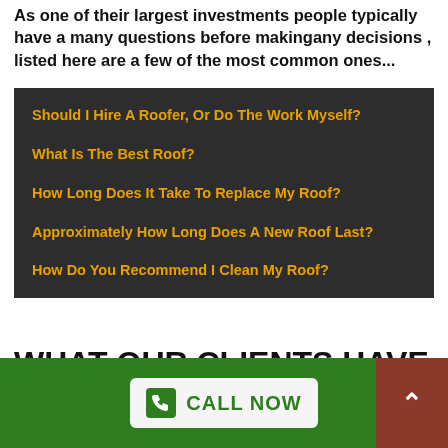As one of their largest investments people typically have a many questions before makingany decisions , listed here are a few of the most common ones...
Should I Hire A Roofer, Or Do The Work Myself?
What Is The Best Roof?
How Long Does It Take To Replace My Roof?
Approximately How Long Does A New Roof Last?
How Do You Recommend I Clean My Roof?
WHAT OUR CLIENTS HAVE TO SAY
CALL NOW